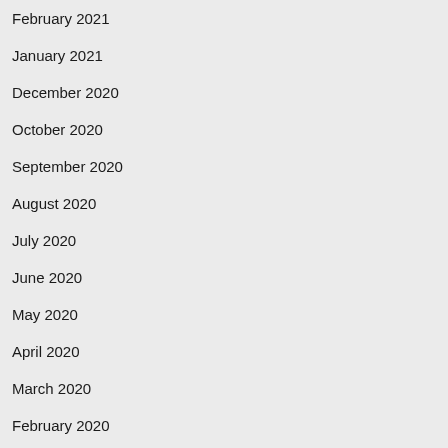February 2021
January 2021
December 2020
October 2020
September 2020
August 2020
July 2020
June 2020
May 2020
April 2020
March 2020
February 2020
January 2020
December 2019
November 2019
October 2019
September 2019
July 2019